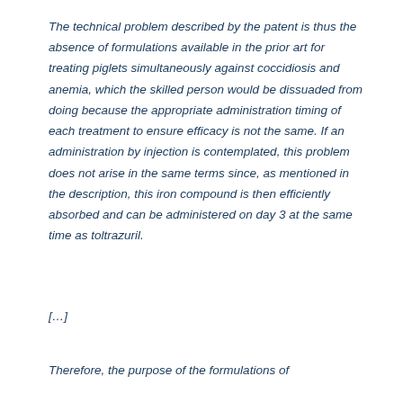The technical problem described by the patent is thus the absence of formulations available in the prior art for treating piglets simultaneously against coccidiosis and anemia, which the skilled person would be dissuaded from doing because the appropriate administration timing of each treatment to ensure efficacy is not the same. If an administration by injection is contemplated, this problem does not arise in the same terms since, as mentioned in the description, this iron compound is then efficiently absorbed and can be administered on day 3 at the same time as toltrazuril.
[…]
Therefore, the purpose of the formulations of